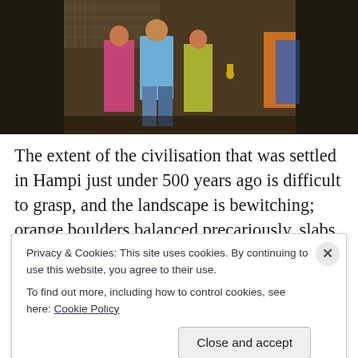[Figure (photo): Photo of elephants with people including a child in a blue shirt walking between large elephant bodies, with colorful clothing visible in background]
The extent of the civilisation that was settled in Hampi just under 500 years ago is difficult to grasp, and the landscape is bewitching; orange boulders balanced precariously, slabs of rock with temples perched on top, all
Privacy & Cookies: This site uses cookies. By continuing to use this website, you agree to their use.
To find out more, including how to control cookies, see here: Cookie Policy